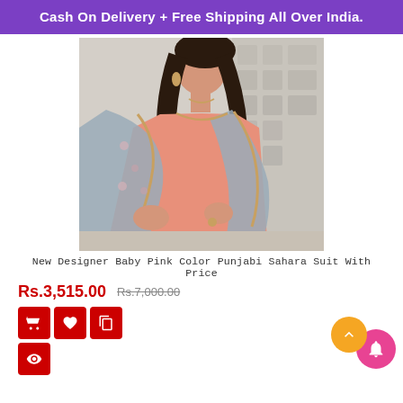Cash On Delivery + Free Shipping All Over India.
[Figure (photo): Woman wearing a baby pink Punjabi Sahara suit with a floral grey dupatta and gold embroidery. The model is seated, wearing gold earrings and a ring.]
New Designer Baby Pink Color Punjabi Sahara Suit With Price
Rs.3,515.00  Rs.7,000.00